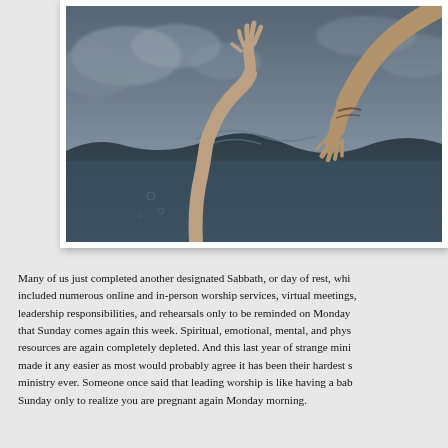[Figure (photo): A dramatic photo of two hands reaching toward each other over stormy ocean waves — one hand reaching up from beneath the water, the other reaching down from above, set against a dark cloudy sky.]
Many of us just completed another designated Sabbath, or day of rest, which included numerous online and in-person worship services, virtual meetings, leadership responsibilities, and rehearsals only to be reminded on Monday that Sunday comes again this week. Spiritual, emotional, mental, and physical resources are again completely depleted. And this last year of strange ministry made it any easier as most would probably agree it has been their hardest season of ministry ever. Someone once said that leading worship is like having a baby on Sunday only to realize you are pregnant again Monday morning.